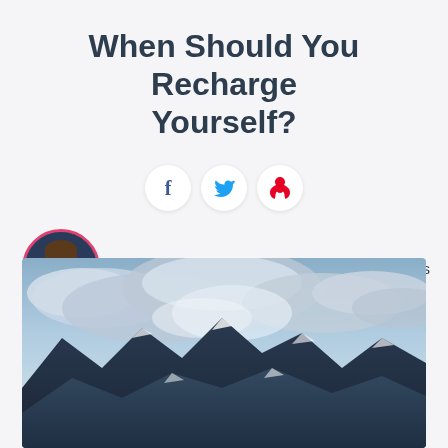When Should You Recharge Yourself?
[Figure (other): Social share buttons: Facebook (f), Twitter (bird), Pinterest (p)]
Leon King
0 comments
[Figure (photo): Panoramic landscape photo of mountains under a dramatic cloudy sky with blue tones and snow-capped peaks]